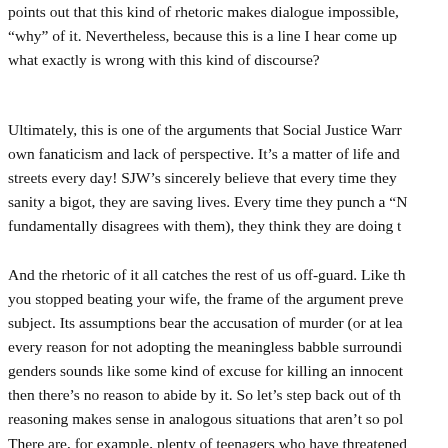points out that this kind of rhetoric makes dialogue impossible, "why" of it. Nevertheless, because this is a line I hear come up what exactly is wrong with this kind of discourse?
Ultimately, this is one of the arguments that Social Justice Warr own fanaticism and lack of perspective. It’s a matter of life and streets every day! SJW’s sincerely believe that every time they sanity a bigot, they are saving lives. Every time they punch a “N fundamentally disagrees with them), they think they are doing t
And the rhetoric of it all catches the rest of us off-guard. Like th you stopped beating your wife, the frame of the argument preve subject. Its assumptions bear the accusation of murder (or at lea every reason for not adopting the meaningless babble surroundi genders sounds like some kind of excuse for killing an innocent then there’s no reason to abide by it. So let’s step back out of th reasoning makes sense in analogous situations that aren’t so pol
There are, for example, plenty of teenagers who have threatened